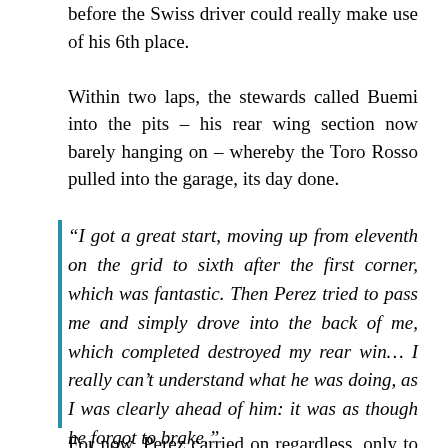before the Swiss driver could really make use of his 6th place. Within two laps, the stewards called Buemi into the pits – his rear wing section now barely hanging on – whereby the Toro Rosso pulled into the garage, its day done.
“I got a great start, moving up from eleventh on the grid to sixth after the first corner, which was fantastic. Then Perez tried to pass me and simply drove into the back of me, which completed destroyed my rear win… I really can’t understand what he was doing, as I was clearly ahead of him: it was as though he forgot to brake.”
For now, Perez carried on regardless, only to be